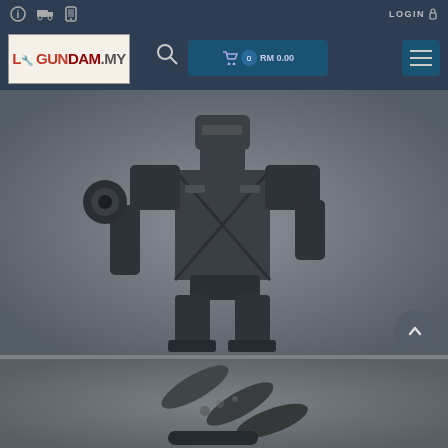LOGIN
[Figure (logo): Gundam.my website logo with red and dark text on white background]
[Figure (photo): Dark grey Gundam model figure / mecha robot upper body on grey background]
[Figure (photo): Dark grey elongated weapon accessories / parts on grey background with loading spinner]